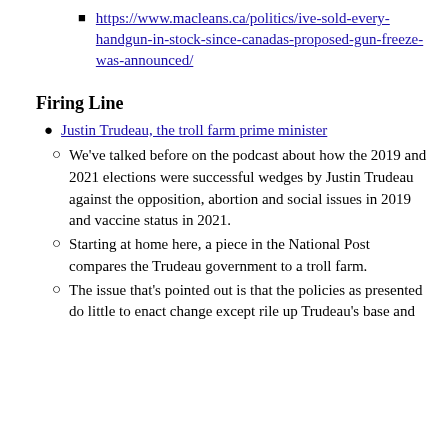https://www.macleans.ca/politics/ive-sold-every-handgun-in-stock-since-canadas-proposed-gun-freeze-was-announced/
Firing Line
Justin Trudeau, the troll farm prime minister
We've talked before on the podcast about how the 2019 and 2021 elections were successful wedges by Justin Trudeau against the opposition, abortion and social issues in 2019 and vaccine status in 2021.
Starting at home here, a piece in the National Post compares the Trudeau government to a troll farm.
The issue that's pointed out is that the policies as presented do little to enact change except rile up Trudeau's base and